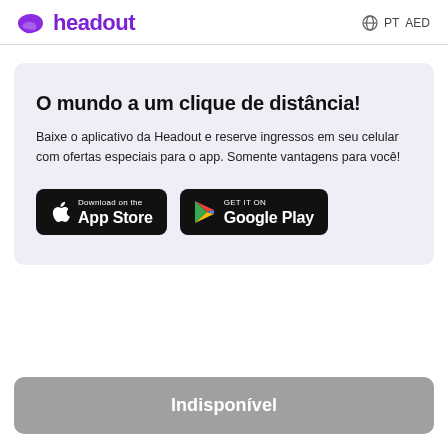headout  PT  AED
O mundo a um clique de distância!
Baixe o aplicativo da Headout e reserve ingressos em seu celular com ofertas especiais para o app. Somente vantagens para você!
[Figure (screenshot): App Store and Google Play download badges on dark background]
Indisponível